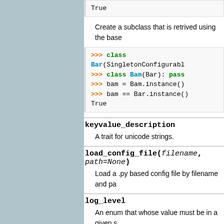[Figure (screenshot): Code block showing 'True']
Create a subclass that is retrived using the base
[Figure (screenshot): Code block with >>> class Bar(SingletonConfigurabl, >>> class Bam(Bar): pass, >>> bam = Bam.instance(), >>> bam == Bar.instance() and True]
keyvalue_description
A trait for unicode strings.
load_config_file(filename, path=None)
Load a .py based config file by filename and pa
log_level
An enum that whose value must be in a given s
on_trait_change(handler, name=None, rem
Setup a handler to be called when a trait chang
This is used to setup dynamic notifications of tr